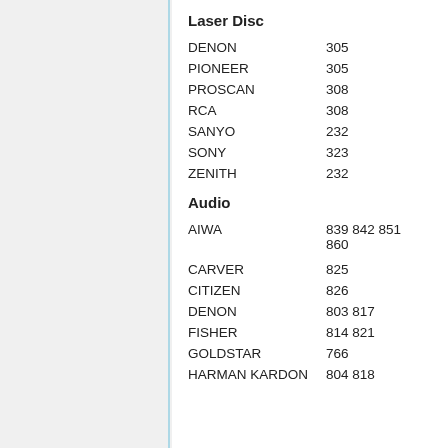Laser Disc
DENON 305
PIONEER 305
PROSCAN 308
RCA 308
SANYO 232
SONY 323
ZENITH 232
Audio
AIWA 839 842 851 860
CARVER 825
CITIZEN 826
DENON 803 817
FISHER 814 821
GOLDSTAR 766
HARMAN KARDON 804 818